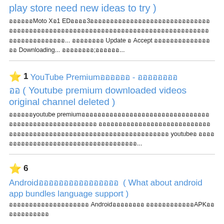play store need new ideas to try )
ออออออMoto Xออ1 EDออออ3ออออออออออออออออออออออออออออออออออออออออออออออออออออออออออออออออออออ... ออออออออ Update อ Accept ออออออออออออออออ Downloading... ออออออออ;ออออออ...
⭐ 1  YouTube Premiumออออออ - ออออออออ
ออ  ( Youtube premium downloaded videos original channel deleted )
ออออออyoutube premiumออออออออออออออออออออออออออออออออออออออออออออออออออออออ ออออออออออออออออออออออออออออออออออออออออออออออออออออออออออออออออออออ youtubeอ ออออออออออออออออออออออออออออออออออออ...
⭐ 6  Androidออออออออออออออออ  ( What about android app bundles language support )
ออออออออออออออออออออ Androidออออออออ ออออออออออออAPKออออออออออออ